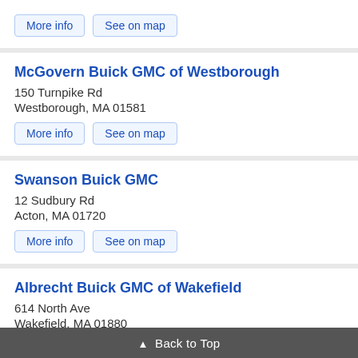More info  See on map
McGovern Buick GMC of Westborough
150 Turnpike Rd
Westborough, MA 01581
More info  See on map
Swanson Buick GMC
12 Sudbury Rd
Acton, MA 01720
More info  See on map
Albrecht Buick GMC of Wakefield
614 North Ave
Wakefield, MA 01880
More info  See on map
▲ Back to Top